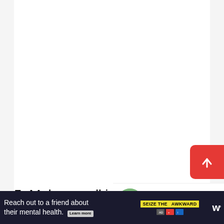5. Make a well in the dry mix.
[Figure (screenshot): Scroll-to-top red button with upward arrow, and a share button (circle with share icon), partially visible on the right edge of the page.]
[Figure (infographic): What's Next panel showing a circular food photo thumbnail with text 'WHAT'S NEXT →' and 'How To Make Easy Mint...']
[Figure (infographic): Advertisement bar at bottom: 'Reach out to a friend about their mental health. Learn more' with 'SEIZE THE AWKWARD' badge and WW logo on dark background.]